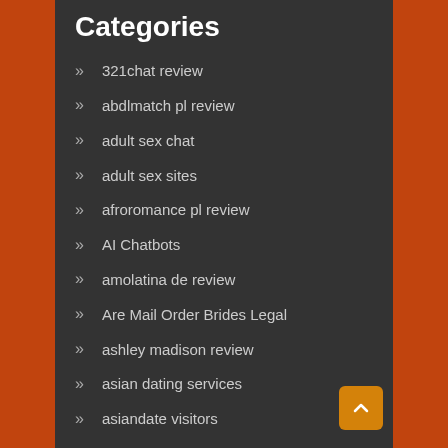Categories
321chat review
abdlmatch pl review
adult sex chat
adult sex sites
afroromance pl review
AI Chatbots
amolatina de review
Are Mail Order Brides Legal
ashley madison review
asian dating services
asiandate visitors